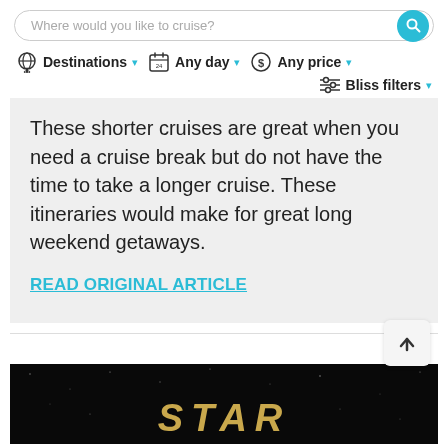Where would you like to cruise? [search bar] Destinations ▾  Any day ▾  Any price ▾  Bliss filters ▾
These shorter cruises are great when you need a cruise break but do not have the time to take a longer cruise. These itineraries would make for great long weekend getaways.
READ ORIGINAL ARTICLE
[Figure (screenshot): Partial view of a dark background image with gold stylized text reading 'STAR' at the bottom, appearing to be a movie or entertainment banner.]